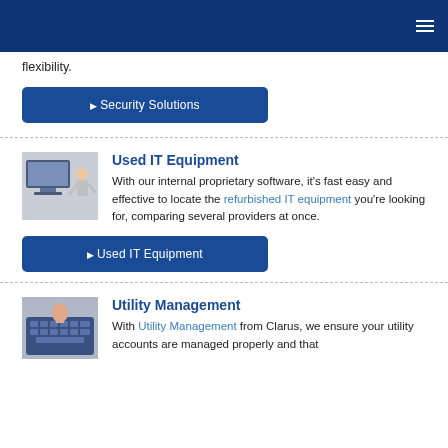flexibility.
▶ Security Solutions
Used IT Equipment
With our internal proprietary software, it's fast easy and effective to locate the refurbished IT equipment you're looking for, comparing several providers at once.
▶ Used IT Equipment
Utility Management
With Utility Management from Clarus, we ensure your utility accounts are managed properly and that